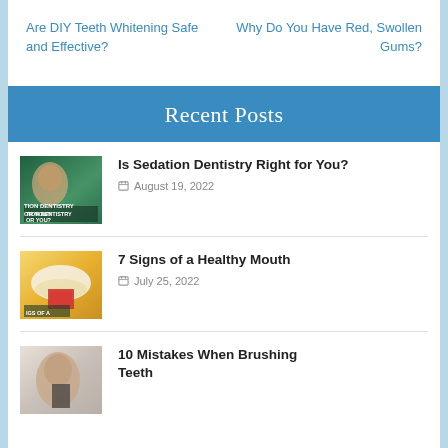Are DIY Teeth Whitening Safe and Effective?
Why Do You Have Red, Swollen Gums?
Recent Posts
[Figure (photo): Person receiving dental sedation treatment]
Is Sedation Dentistry Right for You?
August 19, 2022
[Figure (photo): Person brushing teeth with red toothbrush, healthy smile]
7 Signs of a Healthy Mouth
July 25, 2022
[Figure (photo): Person brushing teeth close-up]
10 Mistakes When Brushing Teeth